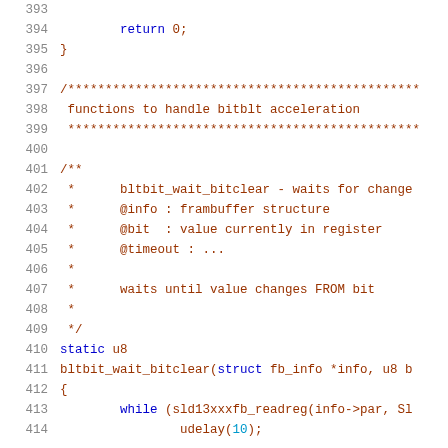Source code listing, lines 393-414, showing C code for bitblt acceleration functions including bltbit_wait_bitclear function definition